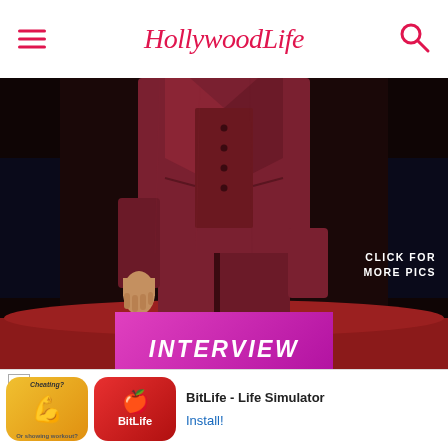HollywoodLife
[Figure (photo): Person wearing a burgundy/dark red velvet three-piece suit standing on a red carpet against a dark background, showing torso and lower body with one hand visible]
CLICK FOR MORE PICS
INTERVIEW
Ryan Reynolds Reveals How
[Figure (other): Advertisement banner for BitLife - Life Simulator app, showing app icon and Install button]